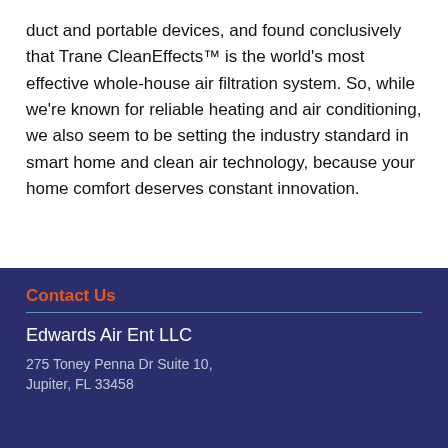duct and portable devices, and found conclusively that Trane CleanEffects™ is the world's most effective whole-house air filtration system. So, while we're known for reliable heating and air conditioning, we also seem to be setting the industry standard in smart home and clean air technology, because your home comfort deserves constant innovation.
Contact Us
Edwards Air Ent LLC
275 Toney Penna Dr Suite 10,
Jupiter, FL 33458